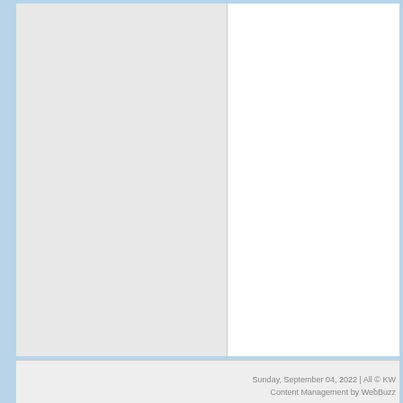[Figure (screenshot): A webpage layout showing a two-column structure. The left column has a light gray background and the right column has a white background. Below is a footer area with a light gray background.]
Sunday, September 04, 2022 | All © KW Content Management by WebBuzz